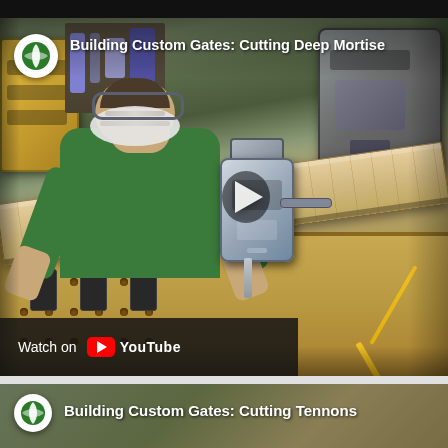[Figure (screenshot): YouTube video thumbnail showing a person in a green shirt and face mask using a mortising machine on a wooden plank in a workshop. Title reads 'Building Custom Gates: Cutting Deep Mortise'. Has YouTube play button and 'Watch on YouTube' overlay.]
[Figure (screenshot): Partial YouTube video thumbnail at bottom showing workshop scene. Title reads 'Building Custom Gates: Cutting Tennons' with channel icon.]